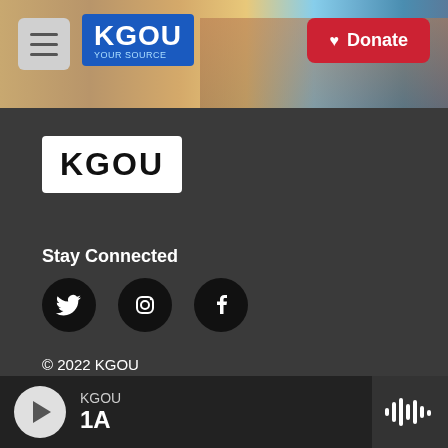KGOU - Your Source | Donate
[Figure (logo): KGOU logo with blue background in header]
[Figure (logo): KGOU logo (black text on white background) in footer section]
Stay Connected
[Figure (illustration): Three social media icons: Twitter, Instagram, Facebook as black circles]
© 2022 KGOU
Terms of Use
Key Information
Public Files
KGOU | 1A